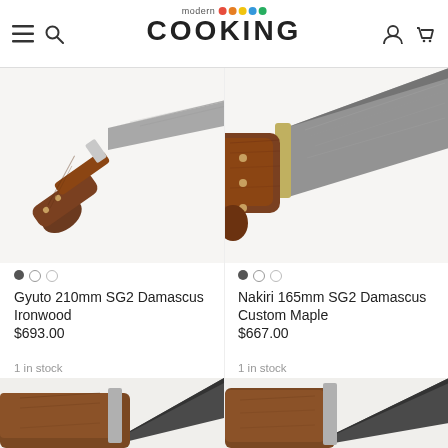modern COOKING — navigation header with logo, hamburger menu, search, user, cart icons
[Figure (photo): Gyuto 210mm knife with brown ironwood handle, Damascus steel blade on white background]
[Figure (photo): Nakiri 165mm knife with brown maple handle, Damascus steel blade on white background]
Gyuto 210mm SG2 Damascus Ironwood
$693.00
Nakiri 165mm SG2 Damascus Custom Maple
$667.00
1 in stock
[Figure (photo): Partial view of a knife blade (dark Damascus steel) from below]
1 in stock
[Figure (photo): Partial view of a knife blade (dark Damascus steel) from below]